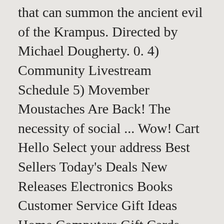that can summon the ancient evil of the Krampus. Directed by Michael Dougherty. 0. 4) Community Livestream Schedule 5) Movember Moustaches Are Back! The necessity of social ... Wow! Cart Hello Select your address Best Sellers Today's Deals New Releases Electronics Books Customer Service Gift Ideas Home Computers Gift Cards Sell. After the men are killed in action, the artifact is sent to the commanding officer's widow who is a teacher at a small-town orphanage. Gravy. 2) Nezha Prime Access is Live! Prime. SEASONS BEATINGS Having gone way over this Thanksgiving with my tracking of calories (awful time to start but I dont care: I have to fix this) Im in a state of detoxing. He